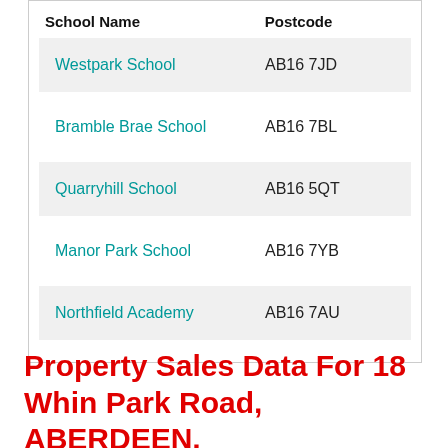| School Name | Postcode |
| --- | --- |
| Westpark School | AB16 7JD |
| Bramble Brae School | AB16 7BL |
| Quarryhill School | AB16 5QT |
| Manor Park School | AB16 7YB |
| Northfield Academy | AB16 7AU |
Property Sales Data For 18 Whin Park Road, ABERDEEN,